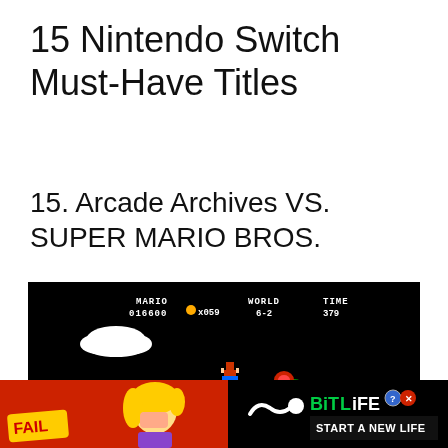15 Nintendo Switch Must-Have Titles
15. Arcade Archives VS. SUPER MARIO BROS.
[Figure (screenshot): Super Mario Bros. game screenshot on black background showing MARIO score 016600, coin x059, WORLD 6-2, TIME 379. A cloud and Mario character mid-jump visible, with a piranha plant in a green pipe at bottom right.]
[Figure (photo): Advertisement banner for BitLife game. Red background on left with fail text and blonde character holding head in hands with flames. Black background on right with BitLife logo in green and white, and 'START A NEW LIFE' text.]